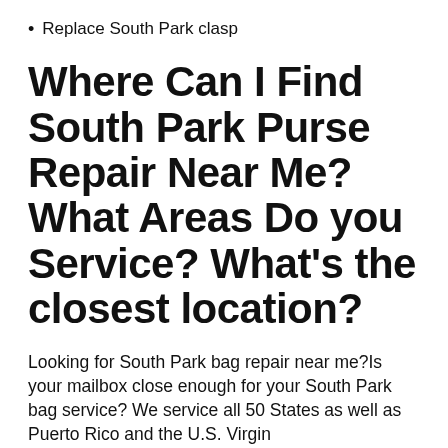Replace South Park clasp
Where Can I Find South Park Purse Repair Near Me? What Areas Do you Service? What's the closest location?
Looking for South Park bag repair near me?Is your mailbox close enough for your South Park bag service? We service all 50 States as well as Puerto Rico and the U.S. Virgin